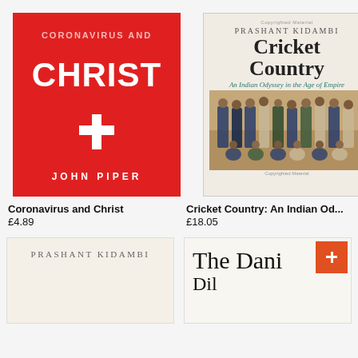[Figure (photo): Book cover: Coronavirus and Christ by John Piper — red background with white cross symbol]
[Figure (photo): Book cover: Cricket Country: An Indian Odyssey in the Age of Empire by Prashant Kidambi — shows historical photo of Indian cricket team]
Coronavirus and Christ
£4.89
Cricket Country: An Indian Od...
£18.05
[Figure (photo): Partial book cover: PRASHANT KIDAMBI on light background]
[Figure (photo): Partial book cover: The Dani... with orange badge/sticker in corner]